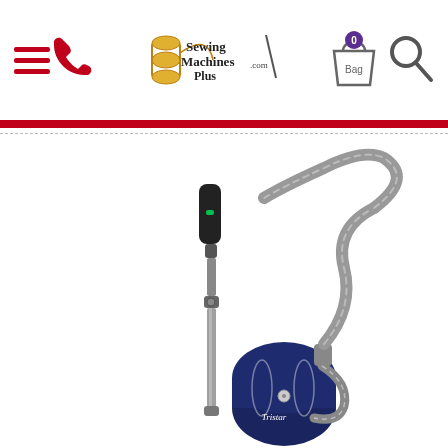SewingMachinesPlus.com navigation header with hamburger menu, phone icon, logo, bag (0 items), and search icon
[Figure (photo): A dark navy blue canister vacuum cleaner (Tristar brand) with an extended telescoping metal wand, flexible corrugated hose, and handle with green indicator light, shown on white background]